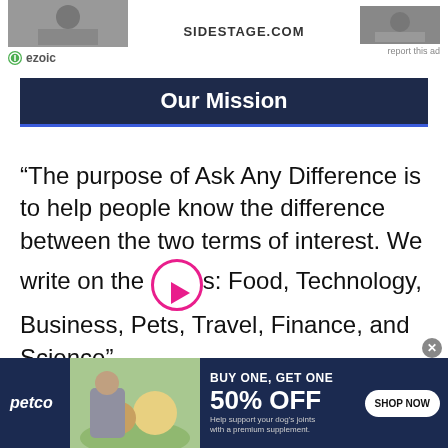[Figure (other): Top banner advertisement with ezoic branding, sidestage.com text, and 'report this ad' link]
Our Mission
“The purpose of Ask Any Difference is to help people know the difference between the two terms of interest. We write on the topics: Food, Technology, Business, Pets, Travel, Finance, and Science”
[Figure (other): Petco advertisement: BUY ONE, GET ONE 50% OFF - Help support your dog's joints with a premium supplement. SHOP NOW button.]